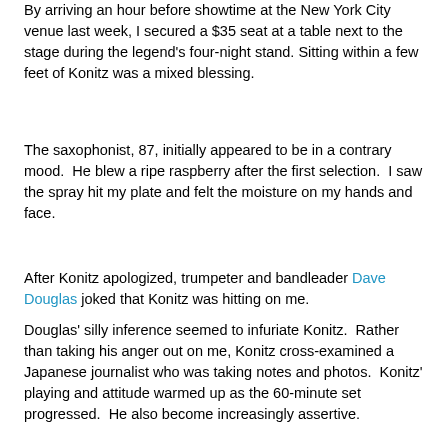By arriving an hour before showtime at the New York City venue last week, I secured a $35 seat at a table next to the stage during the legend's four-night stand. Sitting within a few feet of Konitz was a mixed blessing.
The saxophonist, 87, initially appeared to be in a contrary mood.  He blew a ripe raspberry after the first selection.  I saw the spray hit my plate and felt the moisture on my hands and face.
After Konitz apologized, trumpeter and bandleader Dave Douglas joked that Konitz was hitting on me.
Douglas' silly inference seemed to infuriate Konitz.  Rather than taking his anger out on me, Konitz cross-examined a Japanese journalist who was taking notes and photos.  Konitz' playing and attitude warmed up as the 60-minute set progressed.  He also become increasingly assertive.
Every solo by Douglas, pianist Matt Mitchell, bassist Linda Oh and drummer Ches Smith was transformed into a duet as Konitz added sly embellishments on saxophone or sang over